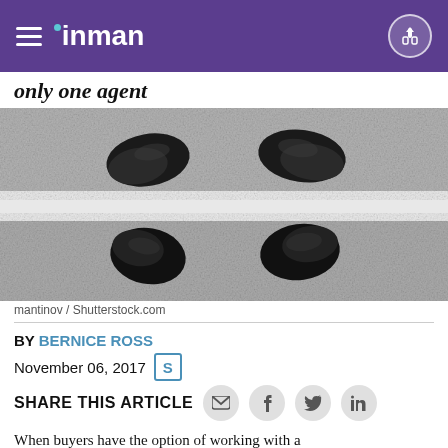inman
only one agent
[Figure (photo): Black and white overhead photo of two pairs of dress shoes facing each other across a white painted line on pavement]
mantinov / Shutterstock.com
BY BERNICE ROSS
November 06, 2017
SHARE THIS ARTICLE
When buyers have the option of working with a